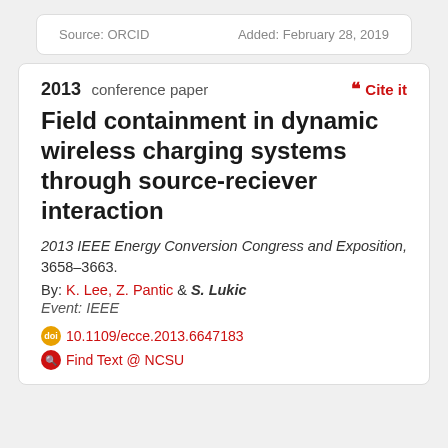Source: ORCID
Added: February 28, 2019
2013 conference paper
Cite it
Field containment in dynamic wireless charging systems through source-reciever interaction
2013 IEEE Energy Conversion Congress and Exposition, 3658–3663.
By: K. Lee, Z. Pantic & S. Lukic
Event: IEEE
10.1109/ecce.2013.6647183
Find Text @ NCSU